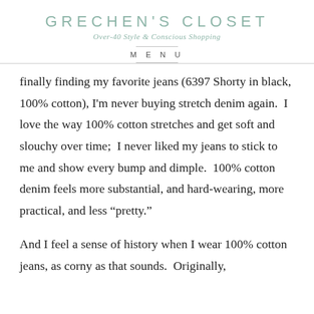GRECHEN'S CLOSET
Over-40 Style & Conscious Shopping
MENU
finally finding my favorite jeans (6397 Shorty in black, 100% cotton), I'm never buying stretch denim again.  I love the way 100% cotton stretches and get soft and slouchy over time;  I never liked my jeans to stick to me and show every bump and dimple.  100% cotton denim feels more substantial, and hard-wearing, more practical, and less “pretty.”
And I feel a sense of history when I wear 100% cotton jeans, as corny as that sounds.  Originally,